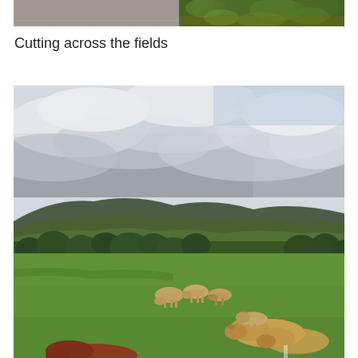[Figure (photo): Partial top photo showing what appears to be ground/path and green foliage, cropped at top of page]
Cutting across the fields
[Figure (photo): Countryside landscape photo showing green rolling hills, dramatic cloudy sky, and cattle (cows) grazing and resting in a green field in the foreground]